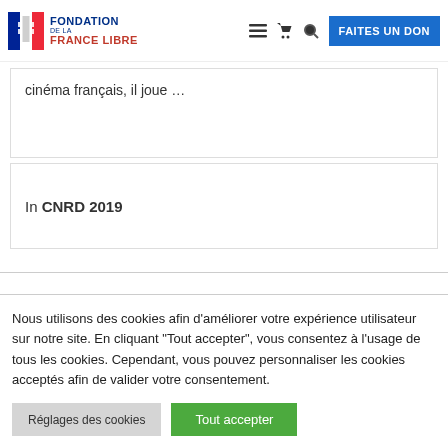Fondation de la France Libre — FAITES UN DON
cinéma français, il joue …
In CNRD 2019
Nous utilisons des cookies afin d'améliorer votre expérience utilisateur sur notre site. En cliquant "Tout accepter", vous consentez à l'usage de tous les cookies. Cependant, vous pouvez personnaliser les cookies acceptés afin de valider votre consentement.